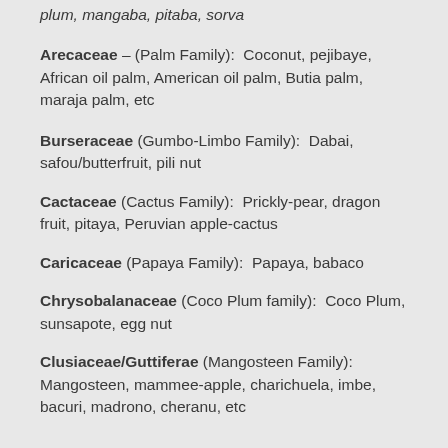plum, mangaba, pitaba, sorva
Arecaceae – (Palm Family):  Coconut, pejibaye, African oil palm, American oil palm, Butia palm, maraja palm, etc
Burseraceae (Gumbo-Limbo Family):  Dabai, safou/butterfruit, pili nut
Cactaceae (Cactus Family):  Prickly-pear, dragon fruit, pitaya, Peruvian apple-cactus
Caricaceae (Papaya Family):  Papaya, babaco
Chrysobalanaceae (Coco Plum family):  Coco Plum, sunsapote, egg nut
Clusiaceae/Guttiferae (Mangosteen Family): Mangosteen, mammee-apple, charichuela, imbe, bacuri, madrono, cheranu, etc